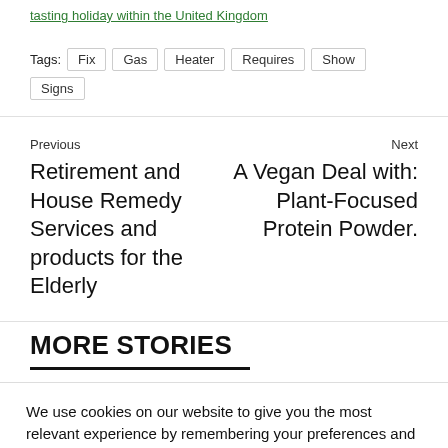tasting holiday within the United Kingdom
Tags: Fix Gas Heater Requires Show Signs
Previous
Retirement and House Remedy Services and products for the Elderly
Next
A Vegan Deal with: Plant-Focused Protein Powder.
MORE STORIES
We use cookies on our website to give you the most relevant experience by remembering your preferences and repeat visits. By clicking "Accept All", you consent to the use of ALL the cookies. However, you may visit "Cookie Settings" to provide a controlled consent.
Cookie Settings | Accept All